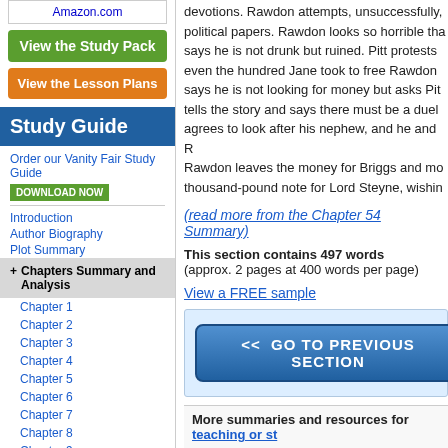Amazon.com
View the Study Pack
View the Lesson Plans
Study Guide
Order our Vanity Fair Study Guide
DOWNLOAD NOW
Introduction
Author Biography
Plot Summary
+ Chapters Summary and Analysis
Chapter 1
Chapter 2
Chapter 3
Chapter 4
Chapter 5
Chapter 6
Chapter 7
Chapter 8
Chapter 9
devotions. Rawdon attempts, unsuccessfully, political papers. Rawdon looks so horrible that says he is not drunk but ruined. Pitt protests even the hundred Jane took to free Rawdon. says he is not looking for money but asks Pit tells the story and says there must be a duel agrees to look after his nephew, and he and R Rawdon leaves the money for Briggs and mo thousand-pound note for Lord Steyne, wishin
(read more from the Chapter 54 Summary)
This section contains 497 words
(approx. 2 pages at 400 words per page)
View a FREE sample
[Figure (other): Light blue box containing a GO TO PREVIOUS SECTION button]
More summaries and resources for teaching or studying...
Browse all BookRags Study Guides.